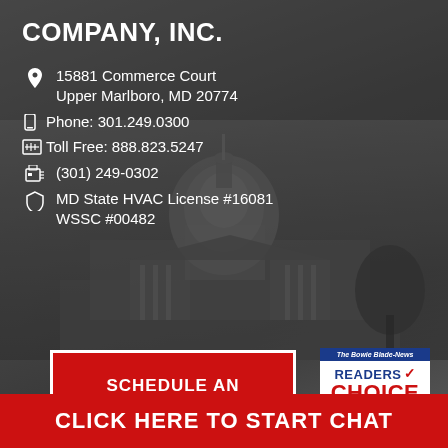COMPANY, INC.
📍  15881 Commerce Court
Upper Marlboro, MD 20774
📱  Phone: 301.249.0300
📟  Toll Free: 888.823.5247
📠  (301) 249-0302
🛡  MD State HVAC License #16081
WSSC #00482
SCHEDULE AN APPOINTMENT
[Figure (logo): The Bowie Blade-News Readers Choice award badge with blue header, red Readers Choice text and checkmark, and red bottom bar]
CLICK HERE TO START CHAT